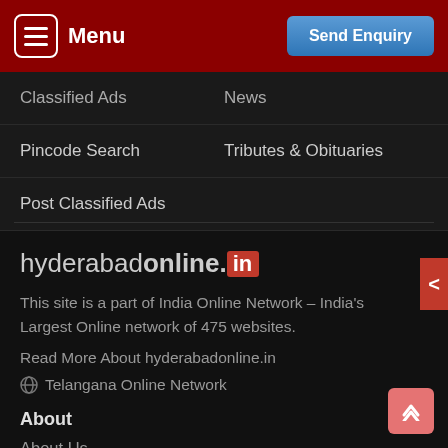Menu | Send Enquiry
Classified Ads
News
Pincode Search
Tributes & Obituaries
Post Classified Ads
hyderabadonline.in
This site is a part of India Online Network – India's Largest Online network of 475 websites.
Read More About hyderabadonline.in
Telangana Online Network
About
About Us